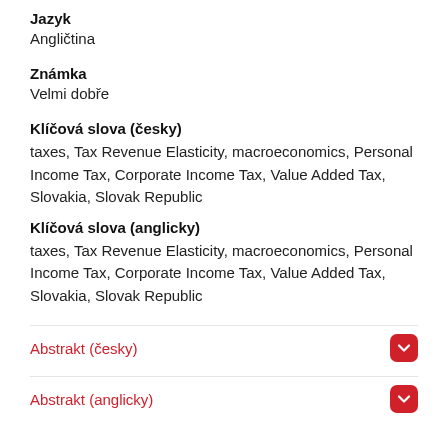Jazyk
Angličtina
Známka
Velmi dobře
Klíčová slova (česky)
taxes, Tax Revenue Elasticity, macroeconomics, Personal Income Tax, Corporate Income Tax, Value Added Tax, Slovakia, Slovak Republic
Klíčová slova (anglicky)
taxes, Tax Revenue Elasticity, macroeconomics, Personal Income Tax, Corporate Income Tax, Value Added Tax, Slovakia, Slovak Republic
Abstrakt (česky)
Abstrakt (anglicky)